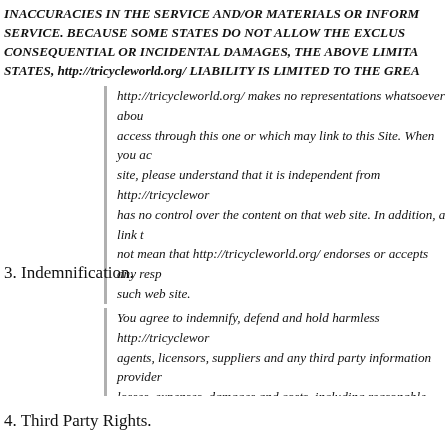INACCURACIES IN THE SERVICE AND/OR MATERIALS OR INFORM SERVICE. BECAUSE SOME STATES DO NOT ALLOW THE EXCLUS CONSEQUENTIAL OR INCIDENTAL DAMAGES, THE ABOVE LIMITA STATES, http://tricycleworld.org/ LIABILITY IS LIMITED TO THE GREA
http://tricycleworld.org/ makes no representations whatsoever abou access through this one or which may link to this Site. When you ac site, please understand that it is independent from http://tricyclewor has no control over the content on that web site. In addition, a link t not mean that http://tricycleworld.org/ endorses or accepts any resp such web site.
3. Indemnification.
You agree to indemnify, defend and hold harmless http://tricyclewor agents, licensors, suppliers and any third party information provider losses, expenses, damages and costs, including reasonable attorne this Agreement (including negligent or wrongful conduct) by you or
4. Third Party Rights.
The provisions of paragraphs 2 (Use of the Service), and 3 (Indemn http://tricycleworld.org/ and its officers, directors, employees, agent information providers to the Service. Each of these individuals or en enforce those provisions directly against you on its own behalf.